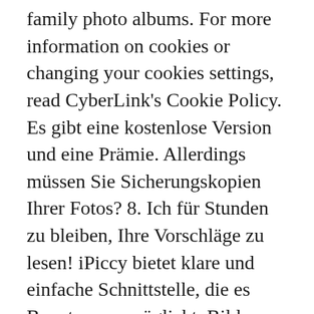family photo albums. For more information on cookies or changing your cookies settings, read CyberLink's Cookie Policy. Es gibt eine kostenlose Version und eine Prämie. Allerdings müssen Sie Sicherungskopien Ihrer Fotos? 8. Ich für Stunden zu bleiben, Ihre Vorschläge zu lesen! iPiccy bietet klare und einfache Schnittstelle, die es Benutzern ermöglicht, Bilder von jedem Web-Site oder einem Dateiordner auf Ihrem Computer zu extrahieren. Jul 29, 2013 - ImageChef is a free creative community of millions where you can express yourself using photos, text and more. Aug 4, 2017 - ImageChef - Funny memes, Photo Frames and Photo Montage With the help of